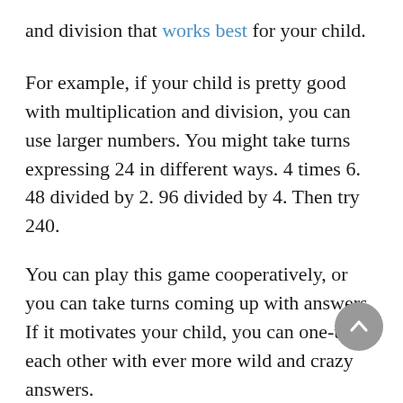and division that works best for your child.
For example, if your child is pretty good with multiplication and division, you can use larger numbers. You might take turns expressing 24 in different ways. 4 times 6. 48 divided by 2. 96 divided by 4. Then try 240.
You can play this game cooperatively, or you can take turns coming up with answers. If it motivates your child, you can one-up each other with ever more wild and crazy answers.
Don’t emphasize speed, however. You want to give your child the time to make sense of what they’re